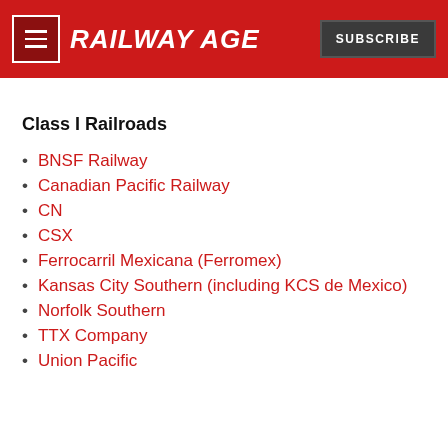RAILWAY AGE | SUBSCRIBE
Class I Railroads
BNSF Railway
Canadian Pacific Railway
CN
CSX
Ferrocarril Mexicana (Ferromex)
Kansas City Southern (including KCS de Mexico)
Norfolk Southern
TTX Company
Union Pacific